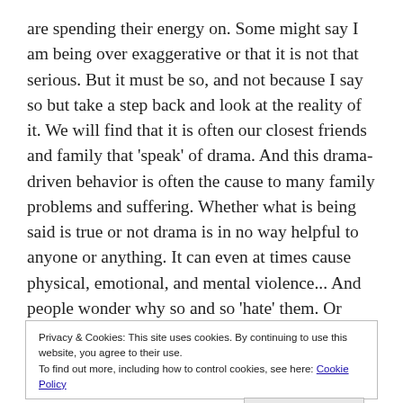are spending their energy on. Some might say I am being over exaggerative or that it is not that serious. But it must be so, and not because I say so but take a step back and look at the reality of it. We will find that it is often our closest friends and family that ‘speak’ of drama. And this drama-driven behavior is often the cause to many family problems and suffering. Whether what is being said is true or not drama is in no way helpful to anyone or anything. It can even at times cause physical, emotional, and mental violence... And people wonder why so and so ‘hate’ them. Or they wonder why their friends and family don’t seem to get along. Little things like drama-driven conversation can go a long way and effect our reality in ways we thought were not even possible. Quitting the act of drama-driven conversation starts
Privacy & Cookies: This site uses cookies. By continuing to use this website, you agree to their use.
To find out more, including how to control cookies, see here: Cookie Policy
[Close and accept]